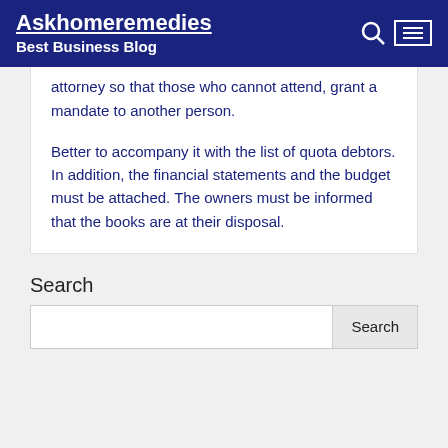Askhomeremedies
Best Business Blog
attorney so that those who cannot attend, grant a mandate to another person.

Better to accompany it with the list of quota debtors. In addition, the financial statements and the budget must be attached. The owners must be informed that the books are at their disposal.
Search